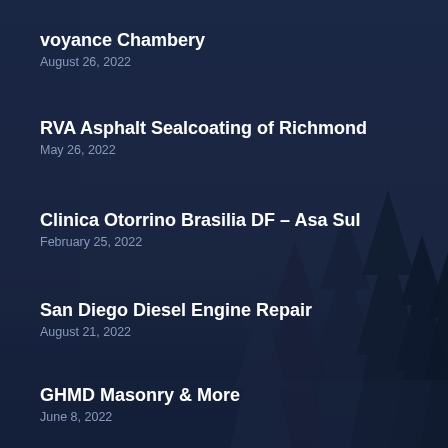voyance Chambery
August 26, 2022
RVA Asphalt Sealcoating of Richmond
May 26, 2022
Clinica Otorrino Brasilia DF – Asa Sul
February 25, 2022
San Diego Diesel Engine Repair
August 21, 2022
GHMD Masonry & More
June 8, 2022